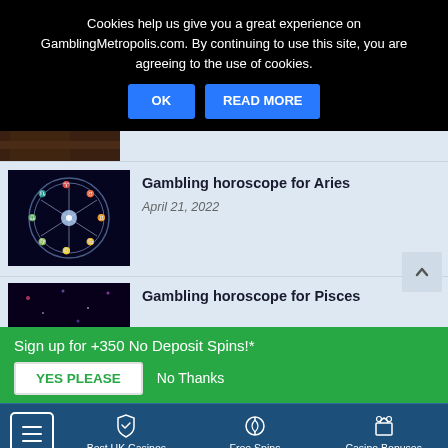Cookies help us give you a great experience on GamblingMetropolis.com. By continuing to use this site, you are agreeing to the use of cookies.
OK  READ MORE
[Figure (illustration): Partial image, dark warm toned (top strip)]
[Figure (illustration): Zodiac wheel glowing blue/white on dark background]
Gambling horoscope for Aries
April 21, 2022
[Figure (illustration): Dark purple/black space background with stars]
Gambling horoscope for Pisces
Sign up for +350 No Deposit Spins!*
YES PLEASE  No Thanks
Best UK Casinos  Free Spins  Casino Bonuses